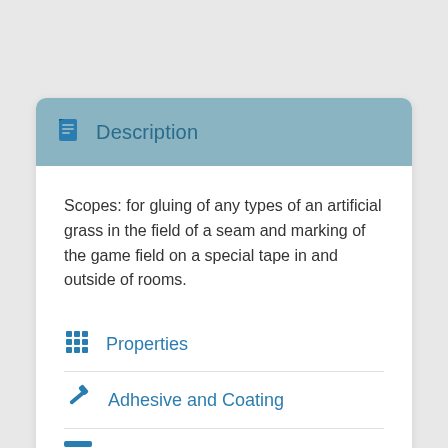Description
Scopes: for gluing of any types of an artificial grass in the field of a seam and marking of the game field on a special tape in and outside of rooms.
Properties
Adhesive and Coating